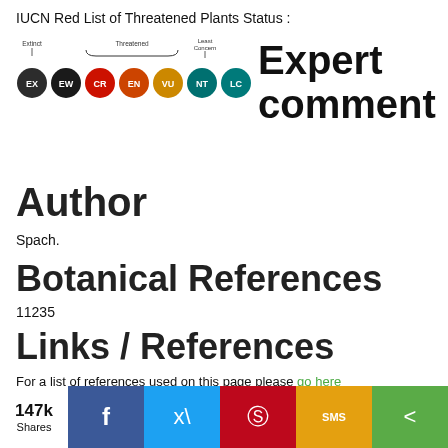IUCN Red List of Threatened Plants Status :
[Figure (infographic): IUCN Red List status scale showing colored circles: EX (black), EW (black), CR (red), EN (orange), EN (gold/yellow), NT (teal), LC (teal) with labels Extinct, Threatened (brace over CR/EN/VU), Least Concern. Beside it large text reads 'Expert comment'.]
Author
Spach.
Botanical References
11235
Links / References
For a list of references used on this page please go here
[Figure (infographic): Social sharing bar: 147k Shares, Facebook, Twitter, Pinterest, SMS, Share buttons]